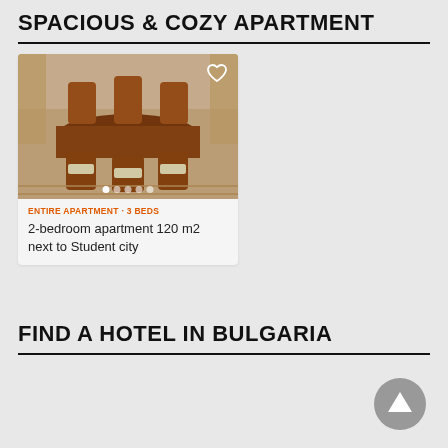SPACIOUS & COZY APARTMENT
[Figure (photo): Dining room photo showing a wooden dining table with chairs, used as a listing thumbnail for an apartment rental. Has a heart/favorite icon overlay and dot navigation indicators.]
ENTIRE APARTMENT · 3 BEDS
2-bedroom apartment 120 m2 next to Student city
FIND A HOTEL IN BULGARIA
[Figure (other): A circular grey scroll-to-top arrow button icon in the bottom right corner]